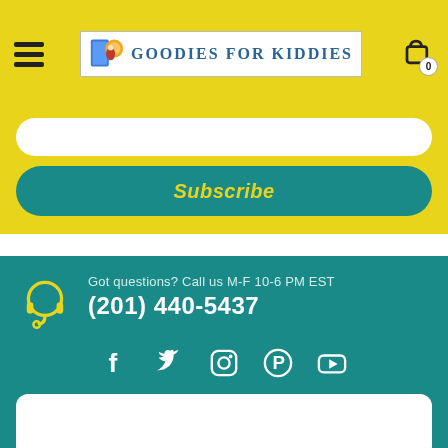Goodies For Kiddies - navigation header with hamburger menu and cart
Subscribe
Got questions? Call us M-F 10-6 PM EST
(201) 440-5437
[Figure (infographic): Social media icons: Facebook, Twitter, Instagram, Pinterest, YouTube]
Input field 1
Input field 2